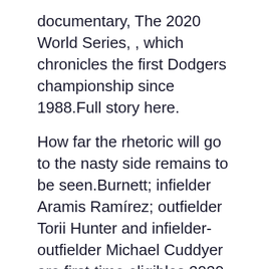documentary, The 2020 World Series, , which chronicles the first Dodgers championship since 1988.Full story here.
How far the rhetoric will go to the nasty side remains to be seen.Burnett; infielder Aramis Ramírez; outfielder Torii Hunter and infielder-outfielder Michael Cuddyer are first-time eligibles.2020 Top-Selling MLS Jerseys 1.2 MLB Major Awards voted on by the Baseball Writers' Association of America: 'Jackie Robinson Rookie of the Year NL ROY:Devin Williams AL ROY Kyle Lewis 'Manager of the Year NL: Don Mattingly AL: Kevin Cash 'Cy Young NL: Trevor Bauer AL : Shane Bieber 'MVP NL: Freddie Freeman AL : José Abreu NYSJ custom football jersey Business News Service April 11: The dust from the 2018 NBA season will not settle for some time, but the league already has